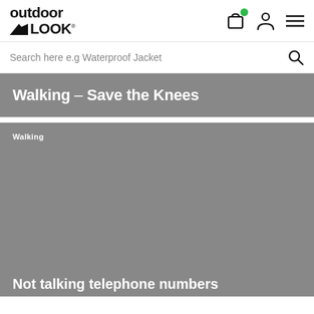outdoor LOOK
Search here e.g Waterproof Jacket
Walking – Save the Knees
[Figure (photo): Article card with grey placeholder image showing Walking category label and partial title 'Not talking telephone numbers']
Walking
Not talking telephone numbers